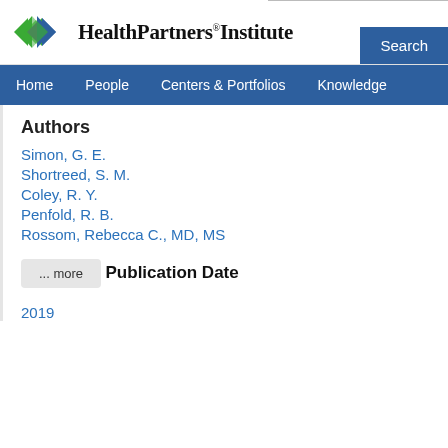[Figure (logo): HealthPartners Institute logo with diamond shapes and text]
Home  People  Centers & Portfolios  Knowledge
Authors
Simon, G. E.
Shortreed, S. M.
Coley, R. Y.
Penfold, R. B.
Rossom, Rebecca C., MD, MS
... more
Publication Date
2019